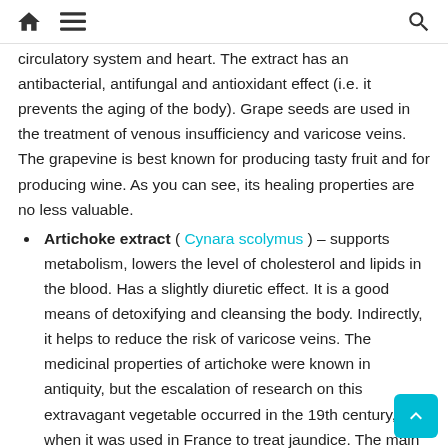🏠 ☰ 🔍
circulatory system and heart. The extract has an antibacterial, antifungal and antioxidant effect (i.e. it prevents the aging of the body). Grape seeds are used in the treatment of venous insufficiency and varicose veins. The grapevine is best known for producing tasty fruit and for producing wine. As you can see, its healing properties are no less valuable.
Artichoke extract ( Cynara scolymus ) – supports metabolism, lowers the level of cholesterol and lipids in the blood. Has a slightly diuretic effect. It is a good means of detoxifying and cleansing the body. Indirectly, it helps to reduce the risk of varicose veins. The medicinal properties of artichoke were known in antiquity, but the escalation of research on this extravagant vegetable occurred in the 19th century, when it was used in France to treat jaundice. The main active compounds in artichoke are cynarin and inulin .